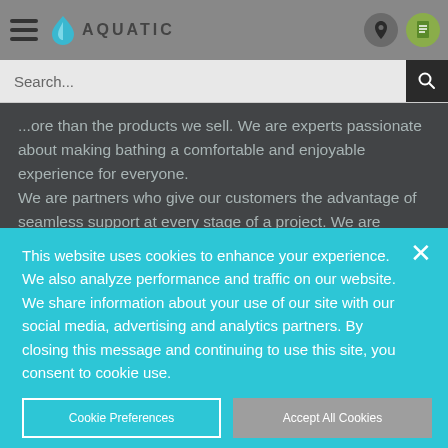AQUATIC - Navigation header with hamburger menu, logo, location and document icons
Search...
...ore than the products we sell. We are experts passionate about making bathing a comfortable and enjoyable experience for everyone. We are partners who give our customers the advantage of seamless support at every stage of a ...
This website uses cookies to enhance your experience. We also analyze performance and traffic on our website. We share information about your use of our site with our social media, advertising and analytics partners. By closing this message and continuing to use this site, you consent to cookie use.